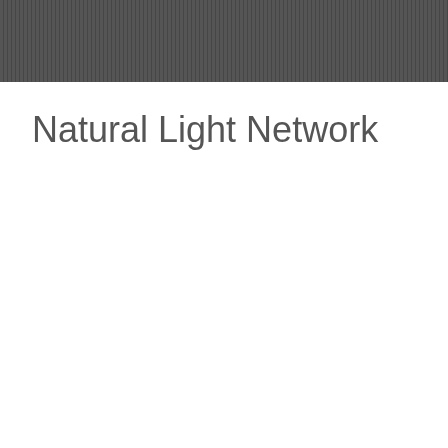[Figure (other): Dark gray striped horizontal banner header with vertical line texture pattern]
Natural Light Network